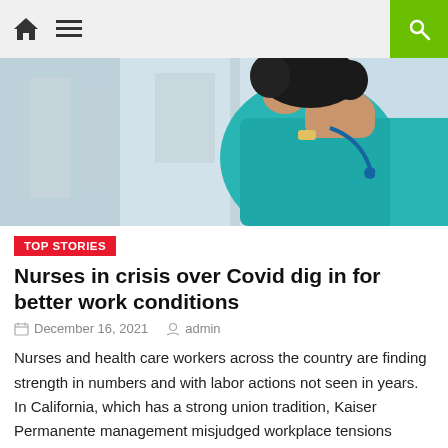Navigation header with home icon, hamburger menu, and search button
[Figure (photo): A nurse in teal/turquoise scrubs with a stethoscope, sitting in a hospital hallway with hand raised near her head, appearing stressed or thoughtful.]
TOP STORIES
Nurses in crisis over Covid dig in for better work conditions
December 16, 2021   admin
Nurses and health care workers across the country are finding strength in numbers and with labor actions not seen in years. In California, which has a strong union tradition, Kaiser Permanente management misjudged workplace tensions during the covid-19 crisis and risked a walkout of thousands when union nurses balked at signing a four-year cont… that [...]